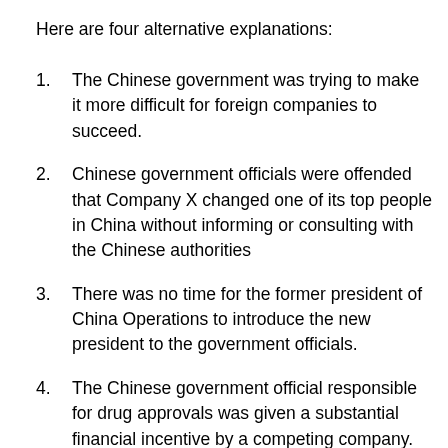Here are four alternative explanations:
The Chinese government was trying to make it more difficult for foreign companies to succeed.
Chinese government officials were offended that Company X changed one of its top people in China without informing or consulting with the Chinese authorities
There was no time for the former president of China Operations to introduce the new president to the government officials.
The Chinese government official responsible for drug approvals was given a substantial financial incentive by a competing company.